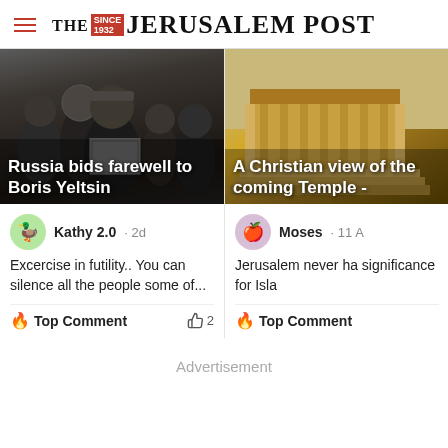THE JERUSALEM POST
[Figure (photo): Dark crowd scene, man holding sign - Russia bids farewell to Boris Yeltsin]
Russia bids farewell to Boris Yeltsin
Kathy 2.0 · 2d
Excercise in futility.. You can silence all the people some of...
🔥 Top Comment  👍 2
[Figure (photo): Golden temple building aerial view - A Christian view of the coming Temple]
A Christian view of the coming Temple -
Moses · 11 A
Jerusalem never ha significance for Isla
🔥 Top Comment
Advertisement